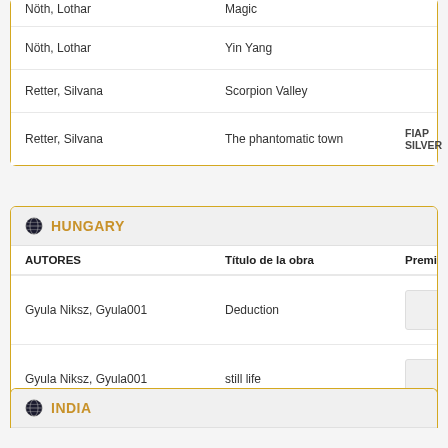|  |  |
| --- | --- |
| Nöth, Lothar | Magic |
| Nöth, Lothar | Yin Yang |
| Retter, Silvana | Scorpion Valley |
| Retter, Silvana | The phantomatic town | FIAP SILVER |
HUNGARY
| AUTORES | Título de la obra | Premios |
| --- | --- | --- |
| Gyula Niksz, Gyula001 | Deduction |  |
| Gyula Niksz, Gyula001 | still life |  |
INDIA